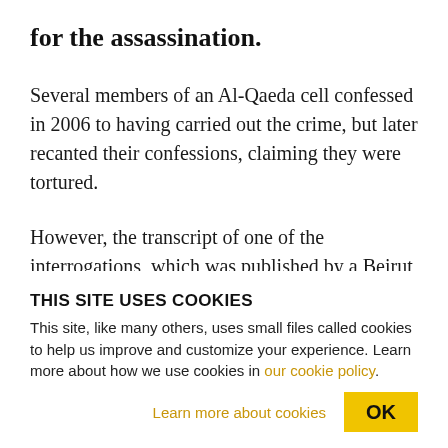for the assassination.
Several members of an Al-Qaeda cell confessed in 2006 to having carried out the crime, but later recanted their confessions, claiming they were tortured.
However, the transcript of one of the interrogations, which was published by a Beirut newspaper in 2007, shows that the testimony was being provided
THIS SITE USES COOKIES
This site, like many others, uses small files called cookies to help us improve and customize your experience. Learn more about how we use cookies in our cookie policy.
Learn more about cookies
OK